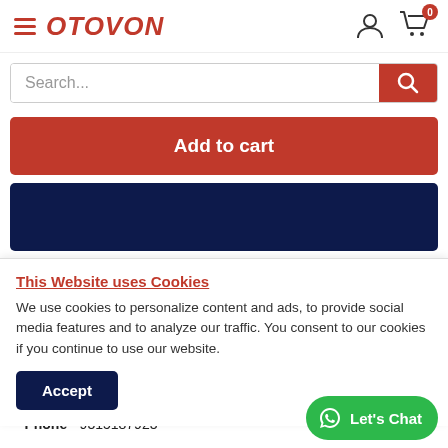OTOVON
Search...
Add to cart
GST Tax Invoice - Available. Provide GST Number at
This Website uses Cookies
We use cookies to personalize content and ads, to provide social media features and to analyze our traffic. You consent to our cookies if you continue to use our website.
Accept
Phone - 9315187923
Let's Chat